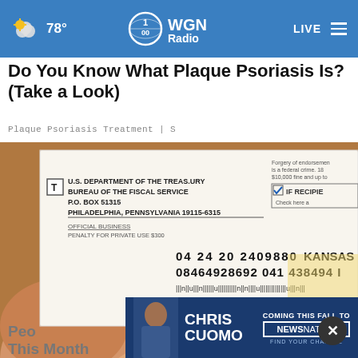78° | WGN Radio | LIVE
Do You Know What Plaque Psoriasis Is? (Take a Look)
Plaque Psoriasis Treatment | S
[Figure (photo): A hand holding a U.S. Treasury / Bureau of the Fiscal Service check envelope showing address details and barcode]
[Figure (photo): Advertisement overlay for Chris Cuomo coming to NewsNation this fall]
Peo... This Month